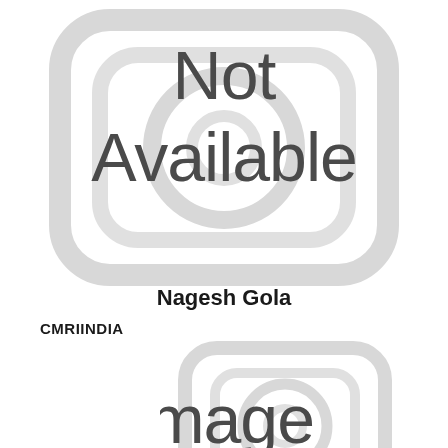[Figure (illustration): Large placeholder icon showing a stylized camera/image icon with rounded square and circular elements in light gray, with 'Not Available' text overlay]
Nagesh Gola
CMRIINDIA
[Figure (illustration): Smaller placeholder icon showing a stylized camera/image icon in light gray, with 'Image' text partially visible at the bottom]